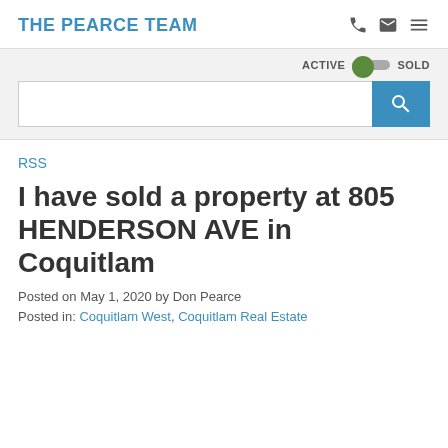THE PEARCE TEAM
[Figure (screenshot): Search bar with ACTIVE/SOLD toggle and blue search button with magnifying glass icon]
RSS
I have sold a property at 805 HENDERSON AVE in Coquitlam
Posted on May 1, 2020 by Don Pearce
Posted in: Coquitlam West, Coquitlam Real Estate